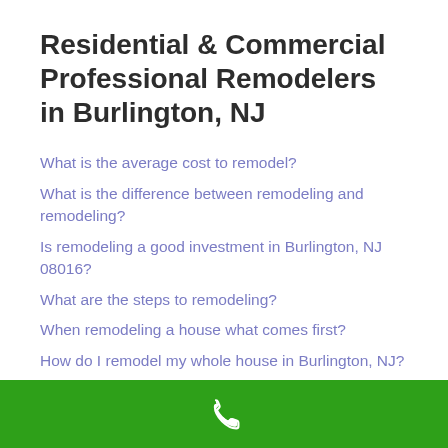Residential & Commercial Professional Remodelers in Burlington, NJ
What is the average cost to remodel?
What is the difference between remodeling and remodeling?
Is remodeling a good investment in Burlington, NJ 08016?
What are the steps to remodeling?
When remodeling a house what comes first?
How do I remodel my whole house in Burlington, NJ?
Phone contact footer bar